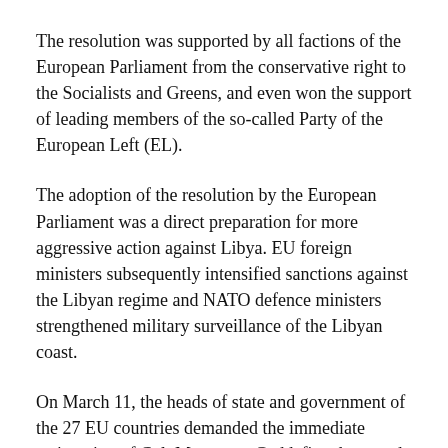The resolution was supported by all factions of the European Parliament from the conservative right to the Socialists and Greens, and even won the support of leading members of the so-called Party of the European Left (EL).
The adoption of the resolution by the European Parliament was a direct preparation for more aggressive action against Libya. EU foreign ministers subsequently intensified sanctions against the Libyan regime and NATO defence ministers strengthened military surveillance of the Libyan coast.
On March 11, the heads of state and government of the 27 EU countries demanded the immediate resignation of Col. Muammar Gaddafi and stepped up the military threats. All of these measures are aimed at installing a government in Tripoli sympathetic to the interests of the international oil companies and the European powers.